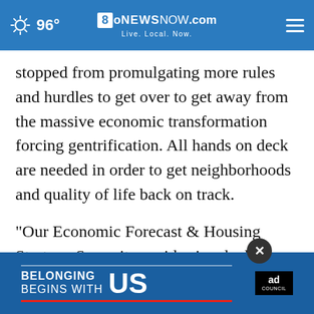96° | 8NewsNow.com | Live. Local. Now.
stopped from promulgating more rules and hurdles to get over to get away from the massive economic transformation forcing gentrification. All hands on deck are needed in order to get neighborhoods and quality of life back on track.
"Our Economic Forecast & Housing Strategy Summit provides invaluable information for our members and elected officials to better engage on ho... Montciano. "The growing large number of
[Figure (screenshot): Ad banner: 'BELONGING BEGINS WITH US' in blue background with red underline and Ad Council logo, with X close button]